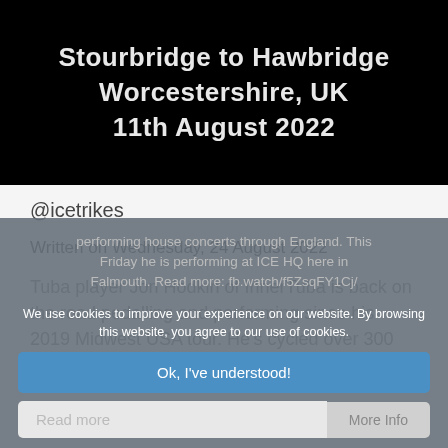[Figure (other): Black background hero image with white bold text reading: Stourbridge to Hawbridge Worcestershire, UK 11th August 2022]
@icetrikes
Written on Wednesday, 24 August 2022
Tuba player Jon Hodkin of InnerTuba is back on the road pedalling and performing since his 2019 Midwest USA tour. He's cycled over 300 miles performing house concerts through England. This Friday he is performing at ICE HQ here in Falmouth. Read more: fb.watch/f5ZsqFY1Cj/
We use cookies to improve your experience on our website. By browsing this website, you agree to our use of cookies.
Ok, I've understood!
Read more
More Info